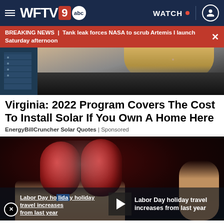WFTV 9 abc | WATCH
BREAKING NEWS | Tank leak forces NASA to scrub Artemis I launch Saturday afternoon
[Figure (photo): Partial image of a person in a black top and solar panels on the left side]
Virginia: 2022 Program Covers The Cost To Install Solar If You Own A Home Here
EnergyBillCruncher Solar Quotes | Sponsored
[Figure (photo): Close-up photo of sugary red gummy candies held in a hand, with a video player overlay showing text: Labor Day holiday travel increases from last year]